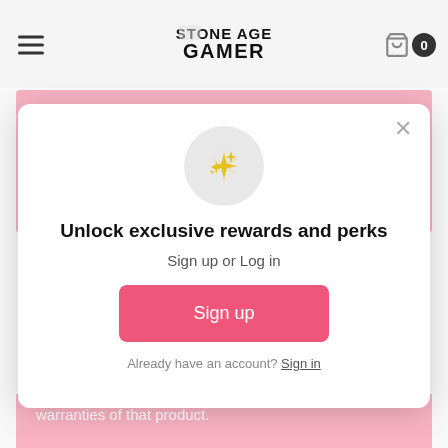Stone Age Gamer
obtained via other methods (i.e. downloading), even if it is a game you physically own.

C) DAMAGE – Neither Stone Age Gamer or the manufacturer is responsible for any
[Figure (screenshot): Modal popup with sparkles icon saying 'Unlock exclusive rewards and perks', Sign up or Log in prompt, Sign up button, and Already have an account? Sign in link]
warranties of that product.